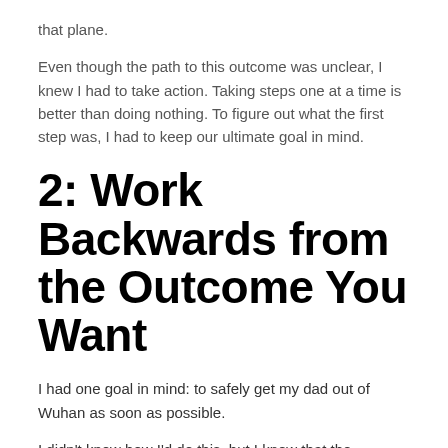that plane.
Even though the path to this outcome was unclear, I knew I had to take action. Taking steps one at a time is better than doing nothing. To figure out what the first step was, I had to keep our ultimate goal in mind.
2: Work Backwards from the Outcome You Want
I had one goal in mind: to safely get my dad out of Wuhan as soon as possible.
I didn't know how I'd do this, but I knew that the embassy is supposed to help US citizens abroad